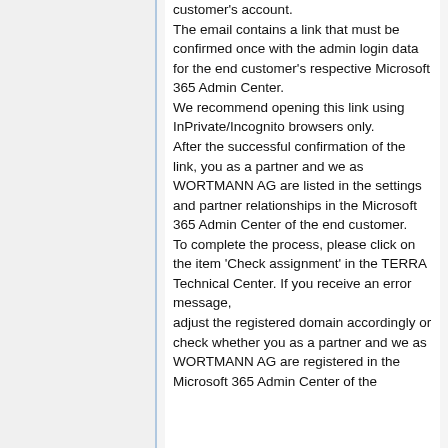customer's account. The email contains a link that must be confirmed once with the admin login data for the end customer's respective Microsoft 365 Admin Center. We recommend opening this link using InPrivate/Incognito browsers only. After the successful confirmation of the link, you as a partner and we as WORTMANN AG are listed in the settings and partner relationships in the Microsoft 365 Admin Center of the end customer. To complete the process, please click on the item 'Check assignment' in the TERRA Technical Center. If you receive an error message, adjust the registered domain accordingly or check whether you as a partner and we as WORTMANN AG are registered in the Microsoft 365 Admin Center of the